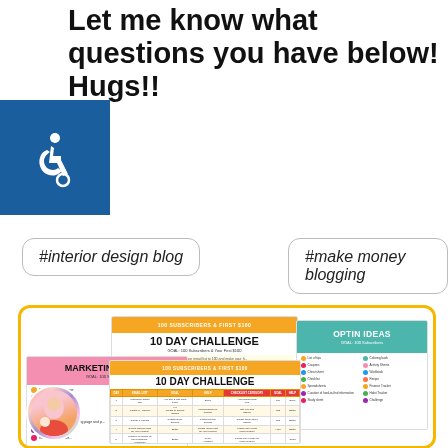Let me know what questions you have below! Hugs!!
[Figure (logo): Accessibility icon — white wheelchair symbol on blue background]
#interior design blog
#make money blogging
[Figure (infographic): Promotional collage showing multiple workbook pages: '10 Day Challenge – GOAL: 100 Subscribers & Your First $100', 'OPTIN IDEAS – GOAL: 100 Subscribers', 'MARKETING IDEAS – GOAL: 100 Subscribers', and a '10 Day Challenge' table/spreadsheet view, plus a circular avatar photo of a woman with a child.]